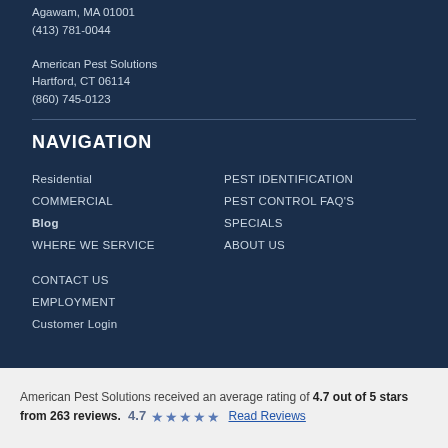Agawam, MA 01001
(413) 781-0044
American Pest Solutions
Hartford, CT 06114
(860) 745-0123
NAVIGATION
Residential
COMMERCIAL
Blog
WHERE WE SERVICE
PEST IDENTIFICATION
PEST CONTROL FAQ'S
SPECIALS
ABOUT US
CONTACT US
EMPLOYMENT
Customer Login
American Pest Solutions received an average rating of 4.7 out of 5 stars from 263 reviews. 4.7 ★★★★★ Read Reviews